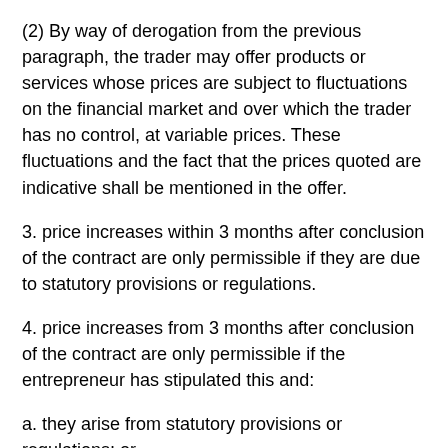(2) By way of derogation from the previous paragraph, the trader may offer products or services whose prices are subject to fluctuations on the financial market and over which the trader has no control, at variable prices. These fluctuations and the fact that the prices quoted are indicative shall be mentioned in the offer.
3. price increases within 3 months after conclusion of the contract are only permissible if they are due to statutory provisions or regulations.
4. price increases from 3 months after conclusion of the contract are only permissible if the entrepreneur has stipulated this and:
a. they arise from statutory provisions or regulations; or
b. the consumer has the right to terminate the contract with effect from the day on which the price increase